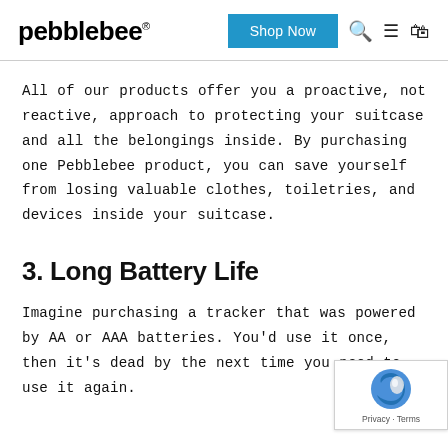pebblebee® | Shop Now | Search | Menu | Cart
All of our products offer you a proactive, not reactive, approach to protecting your suitcase and all the belongings inside. By purchasing one Pebblebee product, you can save yourself from losing valuable clothes, toiletries, and devices inside your suitcase.
3. Long Battery Life
Imagine purchasing a tracker that was powered by AA or AAA batteries. You'd use it once, then it's dead by the next time you need to use it again.